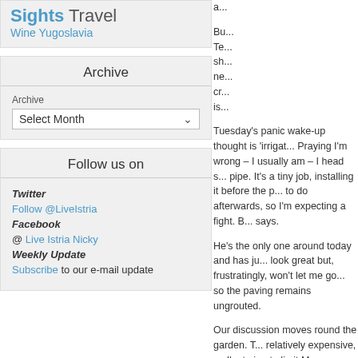Sights Travel Wine Yugoslavia
Archive
Archive
Select Month
Follow us on
Twitter
Follow @LiveIstria
Facebook
@ Live Istria Nicky
Weekly Update
Subscribe to our e-mail update
Tuesday's panic wake-up thought is 'irrigat... Praying I'm wrong – I usually am – I head s... pipe. It's a tiny job, installing it before the p... to do afterwards, so I'm expecting a fight. B... says.
He's the only one around today and has ju... look great but, frustratingly, won't let me go... so the paving remains ungrouted.
Our discussion moves round the garden. T... relatively expensive, so I'm trying to limit M... enthusiastic use of it. The huge piles, deliv... weeks ago, have now been spread and he... another load – but I don't think it's needed.... keep the ground at this level," I suggest, "a... up to the pool terrace? It'll make a feature a... the garden and I can plant something next... Toni agrees and I heave a sigh of relief.